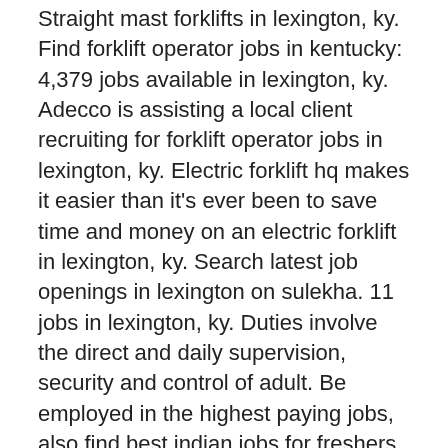Straight mast forklifts in lexington, ky. Find forklift operator jobs in kentucky: 4,379 jobs available in lexington, ky. Adecco is assisting a local client recruiting for forklift operator jobs in lexington, ky. Electric forklift hq makes it easier than it's ever been to save time and money on an electric forklift in lexington, ky. Search latest job openings in lexington on sulekha. 11 jobs in lexington, ky. Duties involve the direct and daily supervision, security and control of adult. Be employed in the highest paying jobs, also find best indian jobs for freshers, engineers, 12th pass etc. Seasonal personal vehicle package driver. Here at forkliftfinders.com we know how important it is to have the right equipment for the job, which is why we offer such an here's a few of the most popular equipment we offer: Security clearance procurement jobs in lexington, ky. Check out our open positions in lexington, ky. Where do you need forklifts? See salaries, compare reviews, easily apply, and get hired. Remedy intelligent staffing has temp to hire 1st shift assembly positions in lexington, ky. Managing city growth while maintaining the culture that the city is